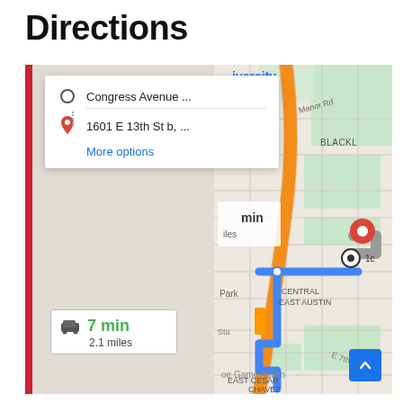Directions
[Figure (map): Google Maps screenshot showing driving directions from Congress Avenue to 1601 E 13th St b in Austin, TX. A blue route line is shown on the map. A directions panel shows origin 'Congress Avenue ...' and destination '1601 E 13th St b, ...' with a 'More options' link. A duration callout shows '7 min, 2.1 miles'. Neighborhood labels visible: BLACKL, CENTRAL EAST AUSTIN, EAST CESAR CHAVEZ, Park, oe Game Austin. Streets include Manor Rd, E 7th St.]